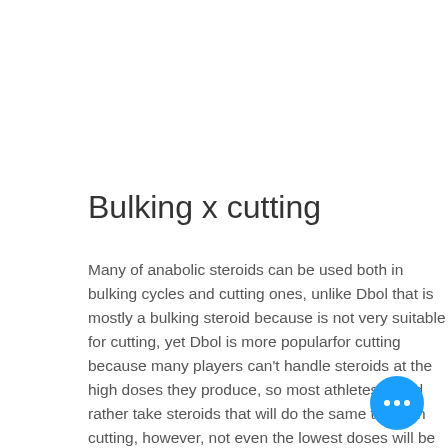Bulking x cutting
Many of anabolic steroids can be used both in bulking cycles and cutting ones, unlike Dbol that is mostly a bulking steroid because is not very suitable for cutting, yet Dbol is more popularfor cutting because many players can't handle steroids at the high doses they produce, so most athletes would rather take steroids that will do the same thing. In cutting, however, not even the lowest doses will be able to produce r… because this is not a sport that is really …
[Figure (other): Blue circular chat button with three white dots (ellipsis icon) in the bottom right corner]